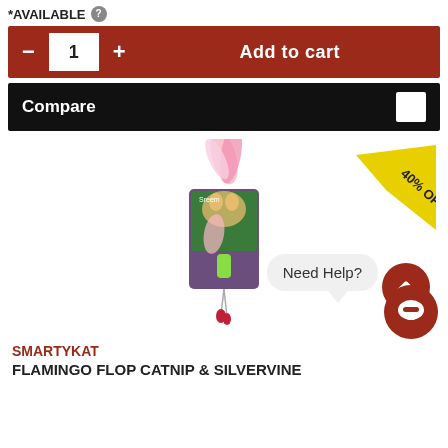*AVAILABLE
1  Add to cart
Compare
[Figure (photo): Cat toy product - SmartyKat Flamingo Flop Catnip & Silvervine toy with pink feathers on a product card, with a 40% OFF badge in the corner, a scroll-up button, a Need Help? chat bubble, and a chat button]
SMARTYKAT
FLAMINGO FLOP CATNIP & SILVERVINE